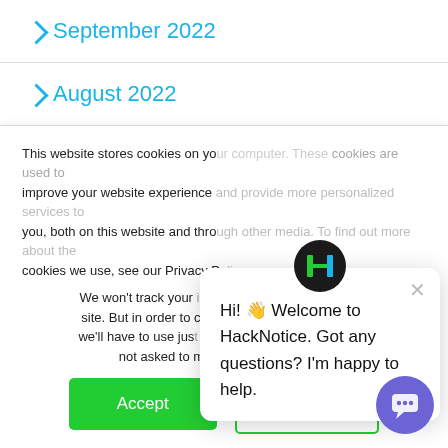> September 2022
> August 2022
> July 2022
> June 2022
> May 2022
This website stores cookies on your computer. These cookies are used to improve your website experience and provide more personalized services to you, both on this website and through other media. To find out more about the cookies we use, see our Privacy P...
We won't track your information when you visit our site. But in order to comply with your preferences, we'll have to use just one tiny cookie so that you're not asked to make this choice again.
Accept
Decline
[Figure (screenshot): HackNotice chat popup with H logo, close button, and message: Hi! Welcome to HackNotice. Got any questions? I'm happy to help.]
[Figure (illustration): Purple chat bubble button in bottom right corner]